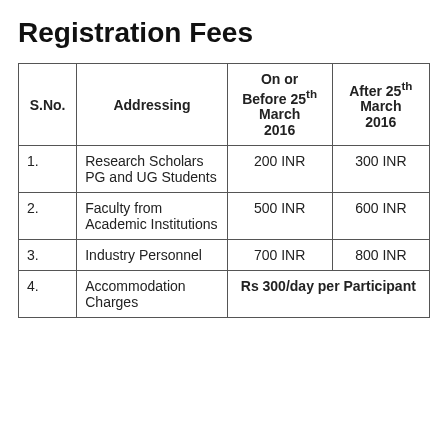Registration Fees
| S.No. | Addressing | On or Before 25th March 2016 | After 25th March 2016 |
| --- | --- | --- | --- |
| 1. | Research Scholars PG and UG Students | 200 INR | 300 INR |
| 2. | Faculty from Academic Institutions | 500 INR | 600 INR |
| 3. | Industry Personnel | 700 INR | 800 INR |
| 4. | Accommodation Charges | Rs 300/day per Participant |  |